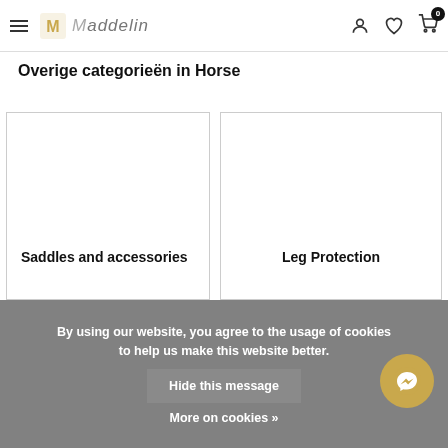Maddelin — navigation header with hamburger menu, logo, account, wishlist, and cart icons
Overige categorieën in Horse
[Figure (other): Product category card: Saddles and accessories]
[Figure (other): Product category card: Leg Protection]
By using our website, you agree to the usage of cookies to help us make this website better.
Hide this message
More on cookies »